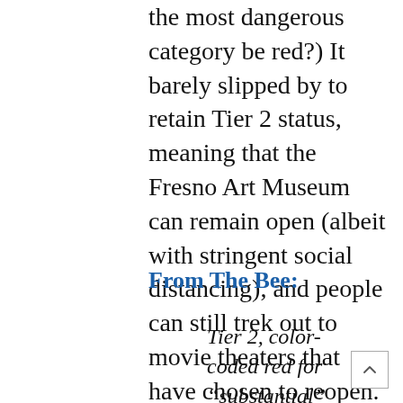the most dangerous category be red?) It barely slipped by to retain Tier 2 status, meaning that the Fresno Art Museum can remain open (albeit with stringent social distancing), and people can still trek out to movie theaters that have chosen to reopen.
From The Bee:
Tier 2, color-coded red for “substantial” risk of transmitting COVID-19 in the community, allows restaurants to serve meals